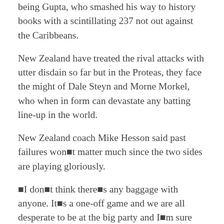being Gupta, who smashed his way to history books with a scintillating 237 not out against the Caribbeans.
New Zealand have treated the rival attacks with utter disdain so far but in the Proteas, they face the might of Dale Steyn and Morne Morkel, who when in form can devastate any batting line-up in the world.
New Zealand coach Mike Hesson said past failures won■t matter much since the two sides are playing gloriously.
■I don■t think there■s any baggage with anyone. It■s a one-off game and we are all desperate to be at the big party and I■m sure we■ll both turn up. Two sides are playing good cricket and it■s going to be a heck of a show,■ he said.